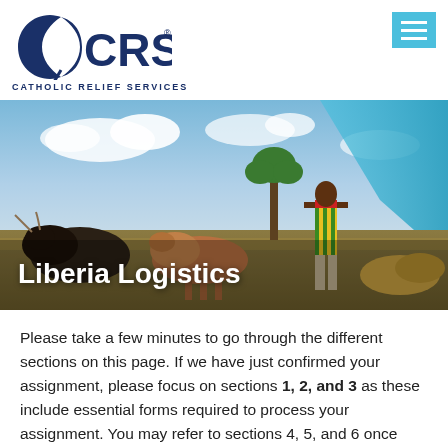[Figure (logo): CRS Catholic Relief Services logo in navy blue]
[Figure (photo): Hero photo of an African herder standing among cattle in a rural landscape with blue sky. 'Liberia Logistics' text overlaid in white bold font at bottom left.]
Please take a few minutes to go through the different sections on this page. If we have just confirmed your assignment, please focus on sections 1, 2, and 3 as these include essential forms required to process your assignment. You may refer to sections 4, 5, and 6 once travel is